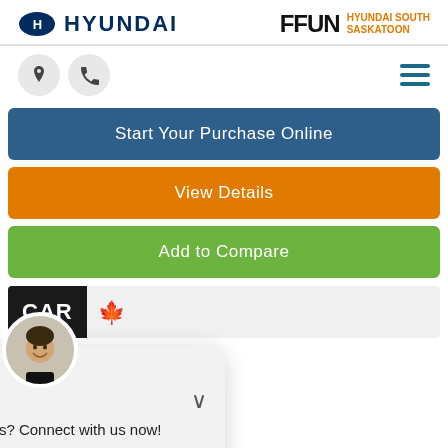[Figure (logo): Hyundai logo with blue oval and text HYUNDAI, alongside FFUN Hyundai South Saskatoon wordmark]
[Figure (screenshot): Navigation icons: location pin icon and phone icon on grey circles, hamburger menu icon on right]
Start Your Purchase Online
View Details
Add to Compare
[Figure (screenshot): Carfax Canada partial banner image]
[Figure (screenshot): Online chat widget with agent photo, Online status, message 'Any sales questions? Connect with us now!', TEXT and CHAT buttons]
Body Style:
Engine:
Exterior Colour:
Other
VIN:
KNDPRCA60L7664514